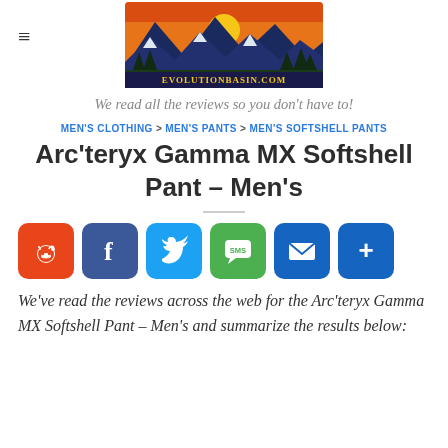[Figure (logo): EvolutionBasin.com logo with mountain/sunset illustration]
We read all the reviews so you don't have to!
MEN'S CLOTHING > MEN'S PANTS > MEN'S SOFTSHELL PANTS
Arc'teryx Gamma MX Softshell Pant – Men's
[Figure (infographic): Social share buttons: Reddit, Facebook, Twitter, SMS, Email, More]
We've read the reviews across the web for the Arc'teryx Gamma MX Softshell Pant – Men's and summarize the results below: